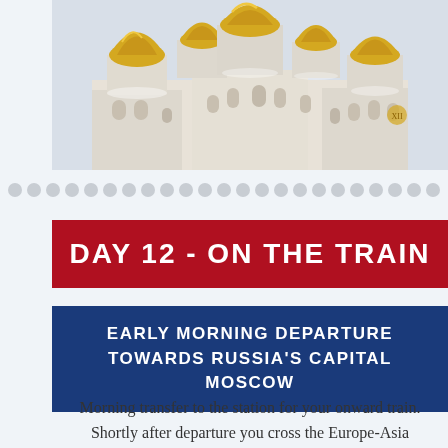[Figure (photo): Photo of a Russian orthodox cathedral with golden onion domes, white stone facade, partially snow-covered]
DAY 12 - ON THE TRAIN
EARLY MORNING DEPARTURE TOWARDS RUSSIA'S CAPITAL MOSCOW
Morning transfer to the station for your onward train. Shortly after departure you cross the Europe-Asia continental border with the rest of the day on the train passing through a relatively populated